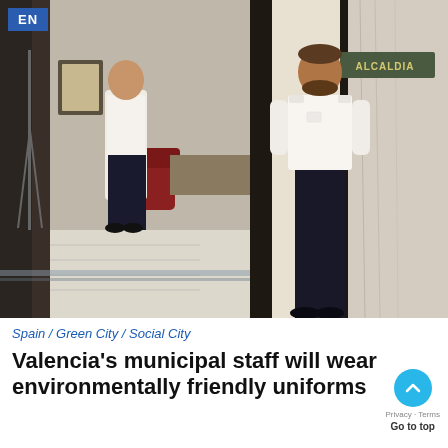EN
[Figure (photo): Two municipal staff members in white short-sleeve shirts and black trousers standing in front of a large dark door labeled 'ALCALDIA', inside an ornate building with marble columns and a decorative tiled floor.]
Spain / Green City / Social City
Valencia's municipal staff will wear environmentally friendly uniforms